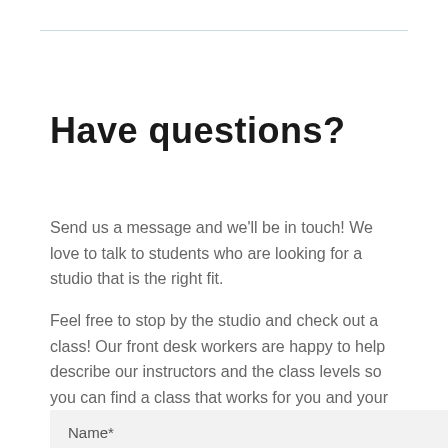Have questions?
Send us a message and we'll be in touch! We love to talk to students who are looking for a studio that is the right fit.
Feel free to stop by the studio and check out a class! Our front desk workers are happy to help describe our instructors and the class levels so you can find a class that works for you and your body.
Name*